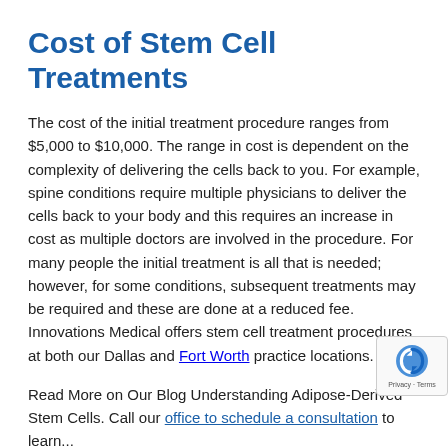Cost of Stem Cell Treatments
The cost of the initial treatment procedure ranges from $5,000 to $10,000. The range in cost is dependent on the complexity of delivering the cells back to you. For example, spine conditions require multiple physicians to deliver the cells back to your body and this requires an increase in cost as multiple doctors are involved in the procedure. For many people the initial treatment is all that is needed; however, for some conditions, subsequent treatments may be required and these are done at a reduced fee. Innovations Medical offers stem cell treatment procedures at both our Dallas and Fort Worth practice locations.
Read More on Our Blog Understanding Adipose-Derived Stem Cells. Call our office to schedule a consultation to learn...